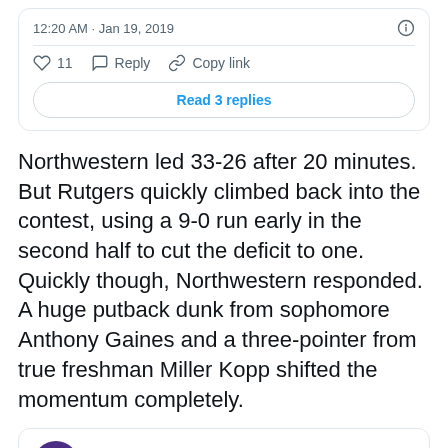12:20 AM · Jan 19, 2019
11  Reply  Copy link
Read 3 replies
Northwestern led 33-26 after 20 minutes. But Rutgers quickly climbed back into the contest, using a 9-0 run early in the second half to cut the deficit to one. Quickly though, Northwestern responded. A huge putback dunk from sophomore Anthony Gaines and a three-pointer from true freshman Miller Kopp shifted the momentum completely.
Northwestern Basketball @NUMensBball · Follow